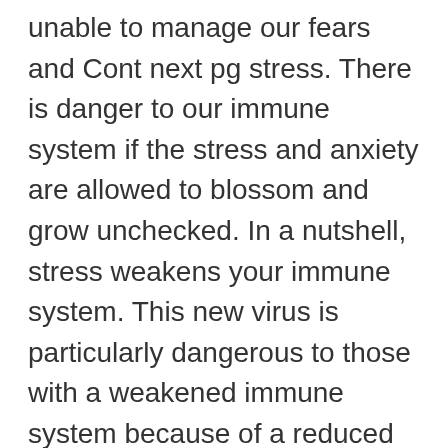unable to manage our fears and Cont next pg stress. There is danger to our immune system if the stress and anxiety are allowed to blossom and grow unchecked. In a nutshell, stress weakens your immune system. This new virus is particularly dangerous to those with a weakened immune system because of a reduced ability of the system to fight off antigens. And, cortisol suppresses the production of both Tlymphocytes and antibodies, which leaves body more vulnerable.
Of course, it is important during this period to use all the stress reduction techniques you have in your toolbox. On a daily basis, get good sleep, eat more natural foods, monitor your thoughts,